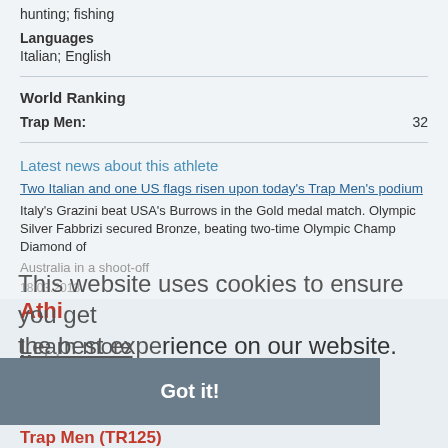hunting; fishing
Languages
Italian; English
World Ranking
Trap Men: 32
Latest news about this athlete
Two Italian and one US flags risen upon today's Trap Men's podium
Italy's Grazini beat USA's Burrows in the Gold medal match. Olympic Silver Fabbrizi secured Bronze, beating two-time Olympic Champ Diamond of
Australia in a shoot-off
18.03.2013
This website uses cookies to ensure you get the best experience on our website.
Learn more
Athlete
Medals
Gold: 4
Silver: 3
Bronze: 3
Trap Men (TR125)